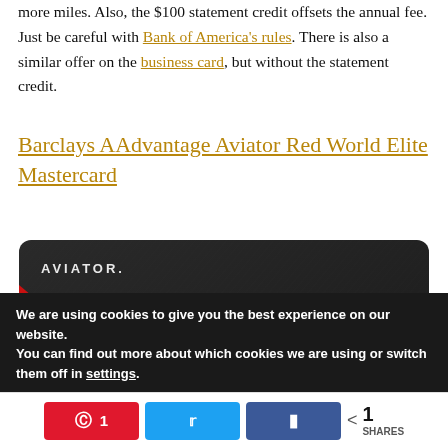more miles. Also, the $100 statement credit offsets the annual fee. Just be careful with Bank of America's rules. There is also a similar offer on the business card, but without the statement credit.
Barclays AAdvantage Aviator Red World Elite Mastercard
[Figure (photo): Barclays AAdvantage Aviator Red World Elite Mastercard credit card — black card with red lower-left corner, showing AVIATOR branding, American Airlines AAdvantage logo, and a chip.]
We are using cookies to give you the best experience on our website.
You can find out more about which cookies we are using or switch them off in settings.
Pinterest 1  Twitter  Facebook  < 1 SHARES